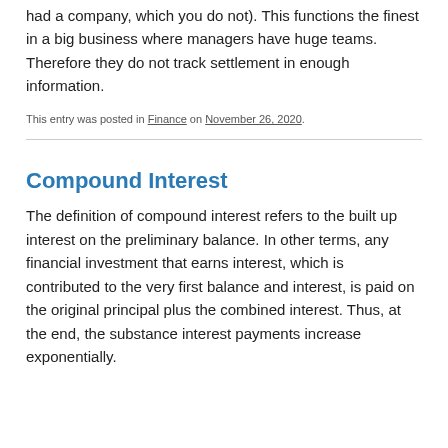had a company, which you do not). This functions the finest in a big business where managers have huge teams. Therefore they do not track settlement in enough information.
This entry was posted in Finance on November 26, 2020.
Compound Interest
The definition of compound interest refers to the built up interest on the preliminary balance. In other terms, any financial investment that earns interest, which is contributed to the very first balance and interest, is paid on the original principal plus the combined interest. Thus, at the end, the substance interest payments increase exponentially.